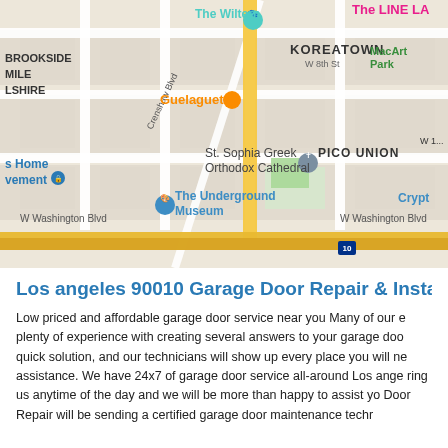[Figure (map): Google Maps view of Koreatown / Pico Union area in Los Angeles, showing streets, landmarks including The Wiltern, The LINE LA, Guelaguetza, St. Sophia Greek Orthodox Cathedral, The Underground Museum, MacArthur Park, Crypt, W Washington Blvd, and Interstate 10.]
Los angeles 90010 Garage Door Repair & Install
Low priced and affordable garage door service near you Many of our e plenty of experience with creating several answers to your garage doo quick solution, and our technicians will show up every place you will ne assistance. We have 24x7 of garage door service all-around Los ange ring us anytime of the day and we will be more than happy to assist yo Door Repair will be sending a certified garage door maintenance techr